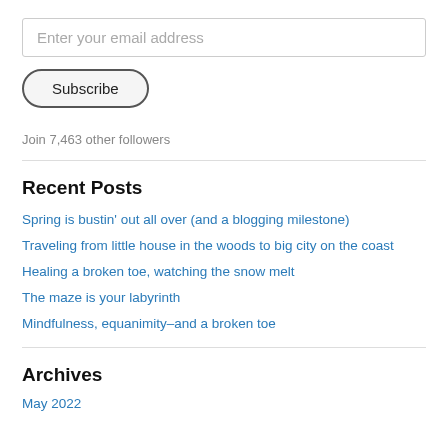Enter your email address
Subscribe
Join 7,463 other followers
Recent Posts
Spring is bustin' out all over (and a blogging milestone)
Traveling from little house in the woods to big city on the coast
Healing a broken toe, watching the snow melt
The maze is your labyrinth
Mindfulness, equanimity–and a broken toe
Archives
May 2022